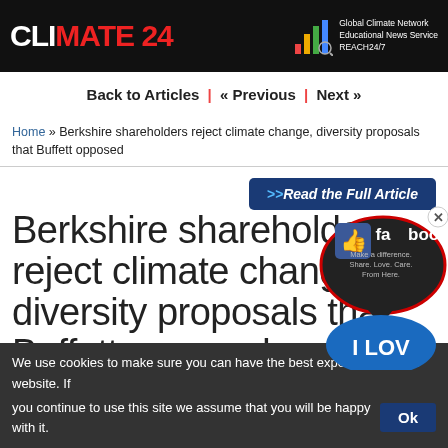CLIMATE 24 | Global Climate Network Educational News Service REACH24/7
Back to Articles | « Previous | Next »
Home » Berkshire shareholders reject climate change, diversity proposals that Buffett opposed
>>Read the Full Article
Berkshire shareholders reject climate change, diversity proposals that Buffett opposed
[Figure (screenshot): Facebook like/share popup overlay with 'I Love' badge]
Share  Tweet  Pin
We use cookies to make sure you can have the best experience on our website. If you continue to use this site we assume that you will be happy with it.  Ok